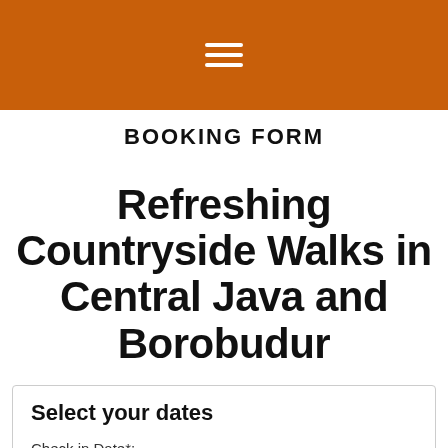☰
BOOKING FORM
Refreshing Countryside Walks in Central Java and Borobudur
Select your dates
Check in Date*:
choose your date